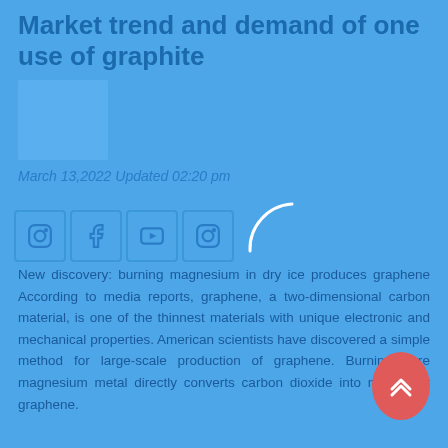Market trend and demand of one use of graphite
March 13,2022 Updated 02:20 pm
[Figure (other): Social media icons row: Instagram, Facebook, YouTube, Instagram; with a loading spinner arc]
New discovery: burning magnesium in dry ice produces graphene According to media reports, graphene, a two-dimensional carbon material, is one of the thinnest materials with unique electronic and mechanical properties. American scientists have discovered a simple method for large-scale production of graphene. Burning pure magnesium metal directly converts carbon dioxide into multi-layer graphene.